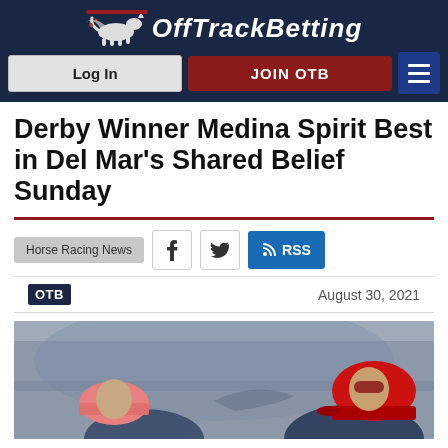OffTrackBetting — Log In | JOIN OTB
Derby Winner Medina Spirit Best in Del Mar's Shared Belief Sunday
Horse Racing News
August 30, 2021
[Figure (photo): Jockey wearing red cap, another jockey visible with pink cap, blurred racetrack background]